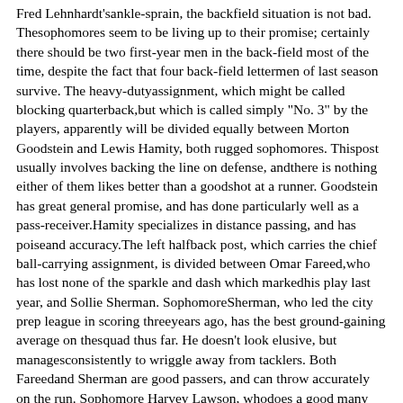Fred Lehnhardt'sankle-sprain, the backfield situation is not bad. Thesophomores seem to be living up to their promise; certainly there should be two first-year men in the back-field most of the time, despite the fact that four back-field lettermen of last season survive. The heavy-dutyassignment, which might be called blocking quarterback,but which is called simply "No. 3" by the players, apparently will be divided equally between Morton Goodstein and Lewis Hamity, both rugged sophomores. Thispost usually involves backing the line on defense, andthere is nothing either of them likes better than a goodshot at a runner. Goodstein has great general promise, and has done particularly well as a pass-receiver.Hamity specializes in distance passing, and has poiseand accuracy.The left halfback post, which carries the chief ball-carrying assignment, is divided between Omar Fareed,who has lost none of the sparkle and dash which markedhis play last year, and Sollie Sherman. SophomoreSherman, who led the city prep league in scoring threeyears ago, has the best ground-gaining average on thesquad thus far. He doesn't look elusive, but managesconsistently to wriggle away from tacklers. Both Fareedand Sherman are good passers, and can throw accurately on the run. Sophomore Harvey Lawson, whodoes a good many things well, will also be useful, although he lacks weight.Right halfback is divided between Lehnhardt, a goodconsistent player, and Bob Fitzgerald, who has lots offight and ability. Both are juniors and both are punters.The dependable Warren Skoning is first fullback. Heis backed up by Ed